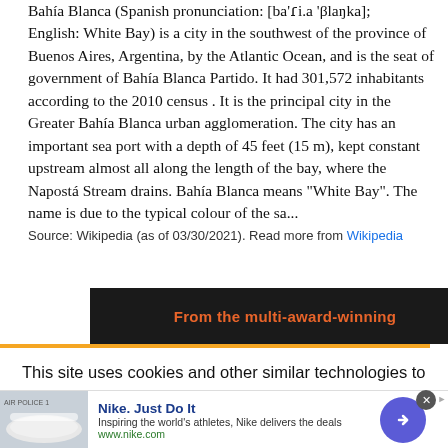Bahía Blanca (Spanish pronunciation: [ba'ɾi.a 'βlaŋka]; English: White Bay) is a city in the southwest of the province of Buenos Aires, Argentina, by the Atlantic Ocean, and is the seat of government of Bahía Blanca Partido. It had 301,572 inhabitants according to the 2010 census . It is the principal city in the Greater Bahía Blanca urban agglomeration. The city has an important sea port with a depth of 45 feet (15 m), kept constant upstream almost all along the length of the bay, where the Napostá Stream drains. Bahía Blanca means "White Bay". The name is due to the typical colour of the sa...
Source: Wikipedia (as of 03/30/2021). Read more from Wikipedia
[Figure (screenshot): Dark advertisement banner with orange text reading 'From the multi-award-winning']
This site uses cookies and other similar technologies to provide site functionality, analyze traffic and usage, and
[Figure (screenshot): Nike advertisement banner: Nike Air Police 1 shoe image, 'Nike. Just Do It' heading in blue, tagline 'Inspiring the world's athletes, Nike delivers the deals', URL www.nike.com, purple circular arrow button, and close (X) button]